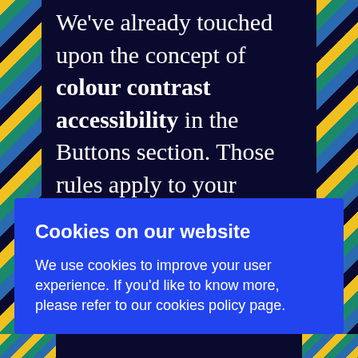We've already touched upon the concept of colour contrast accessibility in the Buttons section. Those rules apply to your website as a whole. No
Cookies on our website
We use cookies to improve your user experience. If you'd like to know more, please refer to our cookies policy page.
Accept
Manage